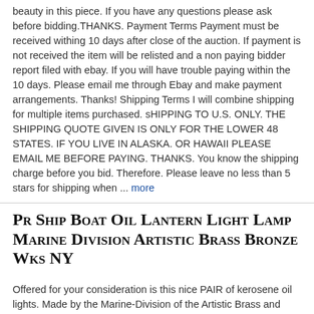beauty in this piece. If you have any questions please ask before bidding.THANKS. Payment Terms Payment must be received withing 10 days after close of the auction. If payment is not received the item will be relisted and a non paying bidder report filed with ebay. If you will have trouble paying within the 10 days. Please email me through Ebay and make payment arrangements. Thanks! Shipping Terms I will combine shipping for multiple items purchased. sHIPPING TO U.S. ONLY. THE SHIPPING QUOTE GIVEN IS ONLY FOR THE LOWER 48 STATES. IF YOU LIVE IN ALASKA. OR HAWAII PLEASE EMAIL ME BEFORE PAYING. THANKS. You know the shipping charge before you bid. Therefore. Please leave no less than 5 stars for shipping when ... more
Pr Ship Boat Oil Lantern Light Lamp Marine Division Artistic Brass Bronze Wks NY
Offered for your consideration is this nice PAIR of kerosene oil lights. Made by the Marine-Division of the Artistic Brass and Bronze Works New York NY. Each light has a makers tag attached to the front of the base. Both lights look to be pretty complete with oil burner and chimneys still there. Sorry no wall mounting brackets. I am not sure if the wicks are still in them. The knob that raises and lowers the wick is very hard to turn on both lanterns. I think the wick mechanism needs to be cleaned. There is a very minor amount of corrosion on the tops of the bases. Each lantern measures about 18" tall to the top of the handle. Base measures about 7" across. Please email me if you have any questions. Free shipping to lower 48 States.
BRONZE PERKO LIGHT BOAT SAILBOAT SHIP BRASS STERN PASSAGE LITE GLASS